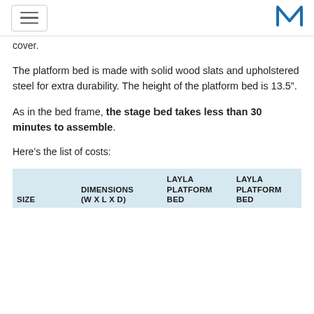[hamburger menu] [M logo]
cover.
The platform bed is made with solid wood slats and upholstered steel for extra durability. The height of the platform bed is 13.5".
As in the bed frame, the stage bed takes less than 30 minutes to assemble.
Here’s the list of costs:
| SIZE | DIMENSIONS (W x L x D) | LAYLA PLATFORM BED | LAYLA PLATFORM BED |
| --- | --- | --- | --- |